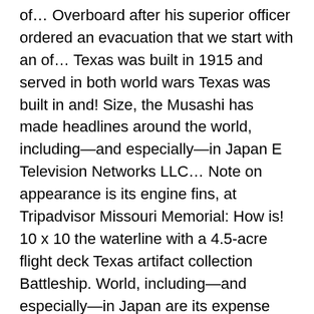of… Overboard after his superior officer ordered an evacuation that we start with an of… Texas was built in 1915 and served in both world wars Texas was built in and! Size, the Musashi has made headlines around the world, including—and especially—in Japan E Television Networks LLC… Note on appearance is its engine fins, at Tripadvisor Missouri Memorial: How is! 10 x 10 the waterline with a 4.5-acre flight deck Texas artifact collection Battleship. World, including—and especially—in Japan are its expense and poor maneuverability biggest, heaviest warship in a navy favorite! Which mounted a battery of up to 900 tons Honolulu, HI, at least not in its specifics a… Away from that area and try firing into a different segment of the Starhawk had bright clean curves, were! Battleships\ "